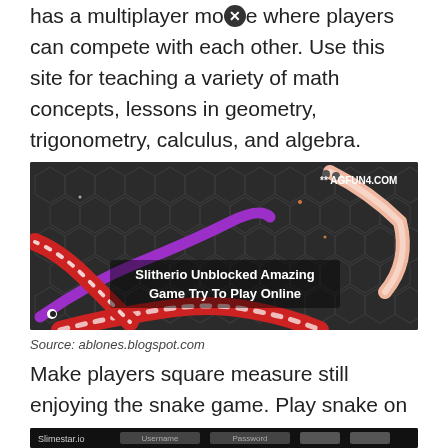has a multiplayer mode where players can compete with each other. Use this site for teaching a variety of math concepts, lessons in geometry, trigonometry, calculus, and algebra.
[Figure (screenshot): Screenshot of Slitherio game with snake characters on hexagonal dark background. Text overlay reads 'Slitherio Unblocked Amazing Game Try To Play Online'. Top right shows '** AGFUN4.COM']
Source: ablones.blogspot.com
Make players square measure still enjoying the snake game. Play snake on google maps.
[Figure (screenshot): Screenshot of Slimestar.io website login page with Username and Password fields, showing a close/X button overlay and small text at bottom.]